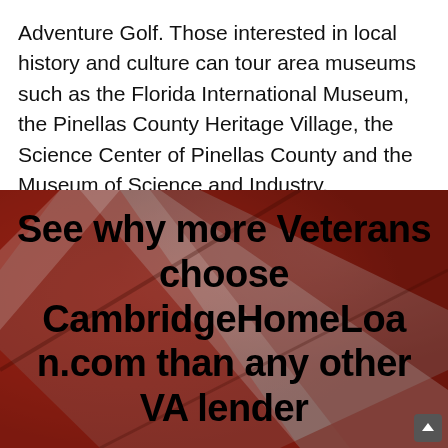Adventure Golf. Those interested in local history and culture can tour area museums such as the Florida International Museum, the Pinellas County Heritage Village, the Science Center of Pinellas County and the Museum of Science and Industry.
[Figure (photo): Advertisement banner with a blurred American flag background showing bold black text: 'See why more Veterans choose CambridgeHomeLoan.com than any other VA lender']